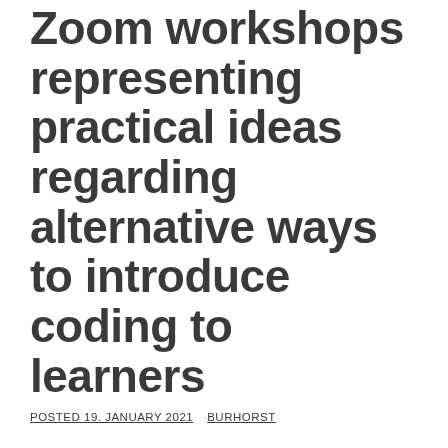Zoom workshops representing practical ideas regarding alternative ways to introduce coding to learners
POSTED 19. JANUARY 2021   BURHORST
YEEES and GAMES powered by TANGIBL invite you to take part in our Zoom workshops representing practical ideas regarding alternative ways to introduce coding to learners.
The dates and topics are: